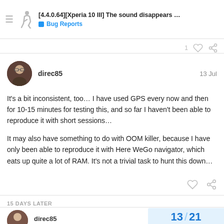[4.4.0.64][Xperia 10 III] The sound disappears ... | Bug Reports
It's a bit inconsistent, too… I have used GPS every now and then for 10-15 minutes for testing this, and so far I haven't been able to reproduce it with short sessions…

It may also have something to do with OOM killer, because I have only been able to reproduce it with Here WeGo navigator, which eats up quite a lot of RAM. It's not a trivial task to hunt this down…
15 DAYS LATER
direc85